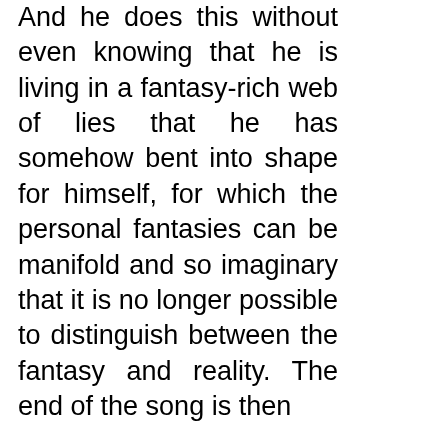And he does this without even knowing that he is living in a fantasy-rich web of lies that he has somehow bent into shape for himself, for which the personal fantasies can be manifold and so imaginary that it is no longer possible to distinguish between the fantasy and reality. The end of the song is then